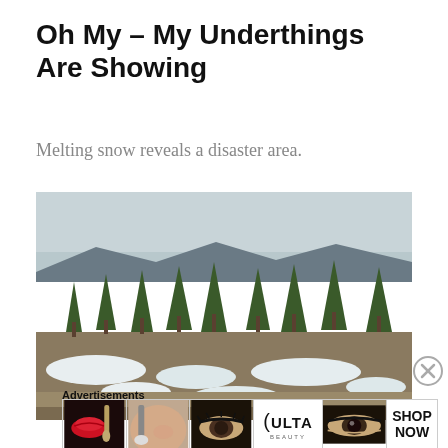Oh My – My Underthings Are Showing
Melting snow reveals a disaster area.
[Figure (photo): Outdoor winter landscape with pine trees on a hillside, patches of melting snow on the ground, mountains visible in the background, overcast sky.]
Advertisements
[Figure (photo): Advertisement banner showing makeup/beauty images including lips with red lipstick and a makeup brush, eye with makeup, ULTA Beauty logo, glamour eye close-up, and SHOP NOW text.]